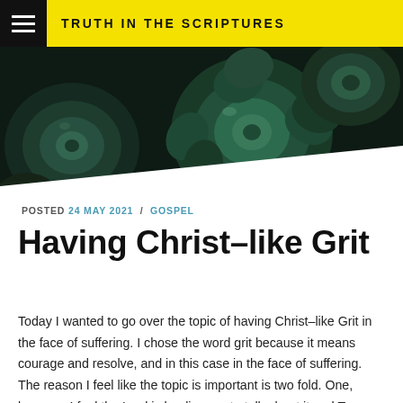TRUTH IN THE SCRIPTURES
[Figure (photo): Close-up photograph of dark green succulent plants with layered rosette leaves on a dark background]
POSTED 24 MAY 2021 / GOSPEL
Having Christ–like Grit
Today I wanted to go over the topic of having Christ–like Grit in the face of suffering. I chose the word grit because it means courage and resolve, and in this case in the face of suffering. The reason I feel like the topic is important is two fold. One, because I feel the Lord is leading me to talk about it and Two,